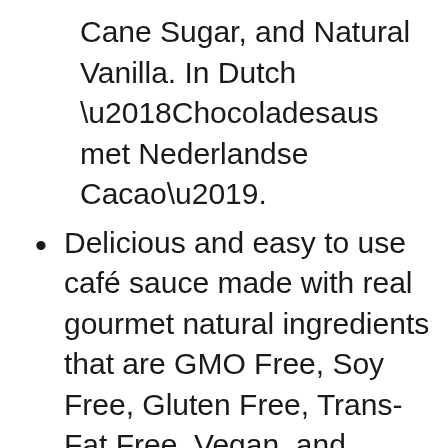Cane Sugar, and Natural Vanilla. In Dutch ‘Chocoladesaus met Nederlandse Cacao’.
Delicious and easy to use café sauce made with real gourmet natural ingredients that are GMO Free, Soy Free, Gluten Free, Trans-Fat Free, Vegan, and Kosher Pareve. No High Fructose Corn Syrups or artificial flavors. Packaged in a BPA-Free Bottle.
Created by cocoa and coffee